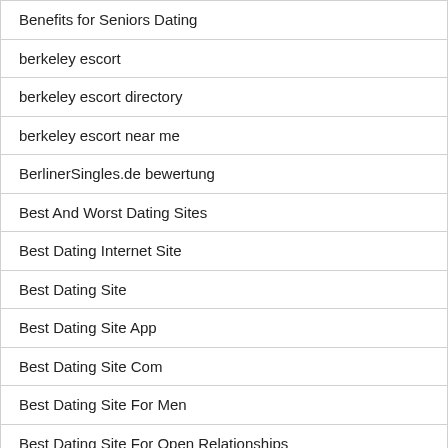Benefits for Seniors Dating
berkeley escort
berkeley escort directory
berkeley escort near me
BerlinerSingles.de bewertung
Best And Worst Dating Sites
Best Dating Internet Site
Best Dating Site
Best Dating Site App
Best Dating Site Com
Best Dating Site For Men
Best Dating Site For Open Relationships
Best Dating Site In Usa